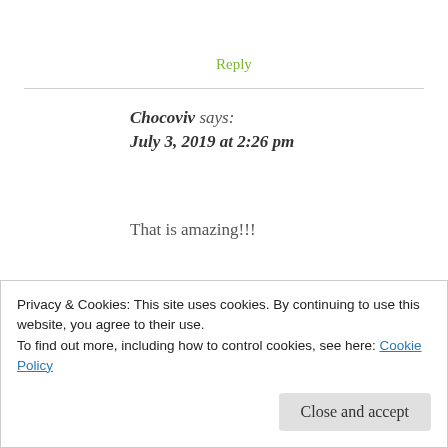Reply
Chocoviv says:
July 3, 2019 at 2:26 pm
That is amazing!!!
★ Liked by 1 person
Reply
Privacy & Cookies: This site uses cookies. By continuing to use this website, you agree to their use.
To find out more, including how to control cookies, see here: Cookie Policy